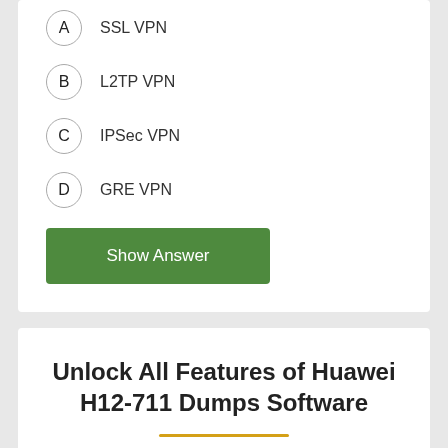A  SSL VPN
B  L2TP VPN
C  IPSec VPN
D  GRE VPN
Show Answer
Unlock All Features of Huawei H12-711 Dumps Software
Just have a look at the best and updated features of our H12-711 dumps which are